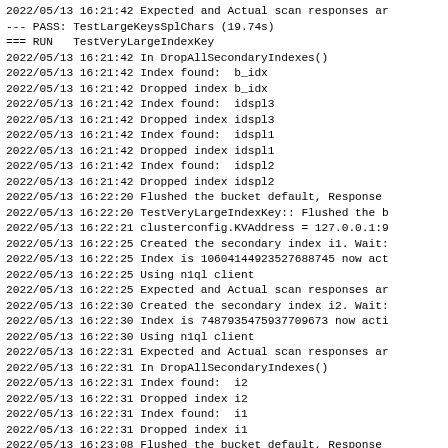2022/05/13 16:21:42 Expected and Actual scan responses ar
--- PASS: TestLargeKeysSplChars (19.74s)
=== RUN   TestVeryLargeIndexKey
2022/05/13 16:21:42 In DropAllSecondaryIndexes()
2022/05/13 16:21:42 Index found:  b_idx
2022/05/13 16:21:42 Dropped index b_idx
2022/05/13 16:21:42 Index found:  idspl3
2022/05/13 16:21:42 Dropped index idspl3
2022/05/13 16:21:42 Index found:  idspl1
2022/05/13 16:21:42 Dropped index idspl1
2022/05/13 16:21:42 Index found:  idspl2
2022/05/13 16:21:42 Dropped index idspl2
2022/05/13 16:22:20 Flushed the bucket default, Response
2022/05/13 16:22:20 TestVeryLargeIndexKey:: Flushed the b
2022/05/13 16:22:21 clusterconfig.KVAddress = 127.0.0.1:9
2022/05/13 16:22:25 Created the secondary index i1. Wait:
2022/05/13 16:22:25 Index is 10604144923527688745 now act
2022/05/13 16:22:25 Using n1ql client
2022/05/13 16:22:25 Expected and Actual scan responses ar
2022/05/13 16:22:30 Created the secondary index i2. Wait:
2022/05/13 16:22:30 Index is 7487935475937709673 now acti
2022/05/13 16:22:30 Using n1ql client
2022/05/13 16:22:31 Expected and Actual scan responses ar
2022/05/13 16:22:31 In DropAllSecondaryIndexes()
2022/05/13 16:22:31 Index found:  i2
2022/05/13 16:22:31 Dropped index i2
2022/05/13 16:22:31 Index found:  i1
2022/05/13 16:22:31 Dropped index i1
2022/05/13 16:23:08 Flushed the bucket default, Response
--- PASS: TestVeryLargeIndexKey (86.64s)